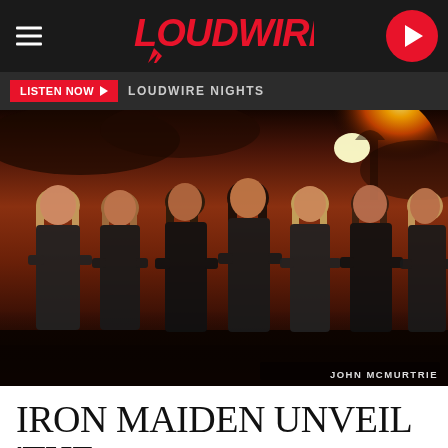LOUDWIRE
LISTEN NOW  LOUDWIRE NIGHTS
[Figure (photo): Iron Maiden band members standing in a row against a dramatic red/orange sky with Asian architecture. Six members dressed in black. Photo credit: John McMurtrie]
JOHN McMURTRIE
IRON MAIDEN UNVEIL 'THE